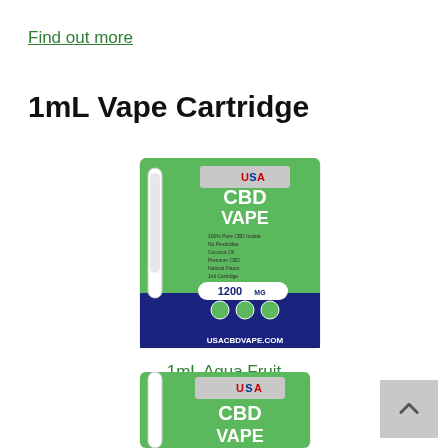Find out more
1mL Vape Cartridge
[Figure (photo): USA CBD Vape 1mL vape cartridge product in green packaging showing 1200mg, USACBDVAPE.COM]
1mL Aqua Fruit
$9.99
[Figure (photo): Partial view of second USA CBD Vape cartridge product in green packaging]